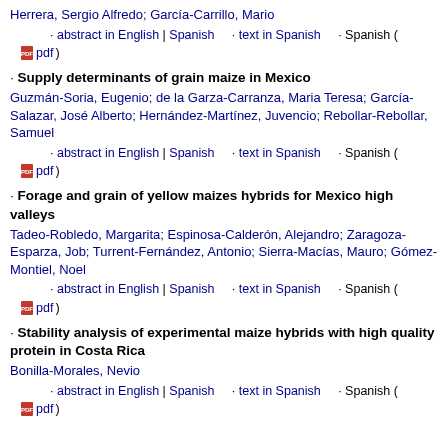Herrera, Sergio Alfredo; García-Carrillo, Mario
· abstract in English | Spanish · text in Spanish · Spanish ( pdf )
· Supply determinants of grain maize in Mexico
Guzmán-Soria, Eugenio; de la Garza-Carranza, Maria Teresa; García-Salazar, José Alberto; Hernández-Martínez, Juvencio; Rebollar-Rebollar, Samuel
· abstract in English | Spanish · text in Spanish · Spanish ( pdf )
· Forage and grain of yellow maizes hybrids for Mexico high valleys
Tadeo-Robledo, Margarita; Espinosa-Calderón, Alejandro; Zaragoza-Esparza, Job; Turrent-Fernández, Antonio; Sierra-Macías, Mauro; Gómez-Montiel, Noel
· abstract in English | Spanish · text in Spanish · Spanish ( pdf )
· Stability analysis of experimental maize hybrids with high quality protein in Costa Rica
Bonilla-Morales, Nevio
· abstract in English | Spanish · text in Spanish · Spanish ( pdf )